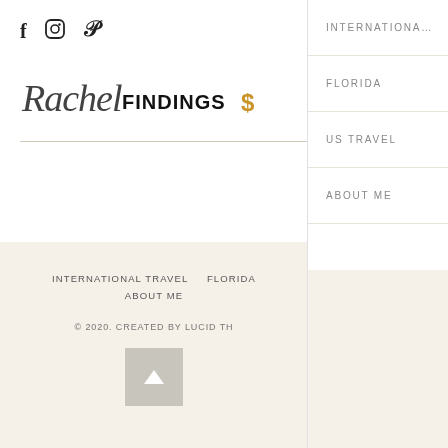f  ○  ℘
[Figure (logo): Rachel Findings script and block logo with gold lightning bolt accent]
INTERNATIONAL
FLORIDA
US TRAVEL
ABOUT ME
INTERNATIONAL TRAVEL    FLORIDA    ABOUT ME
© 2020. CREATED BY LUCID TH